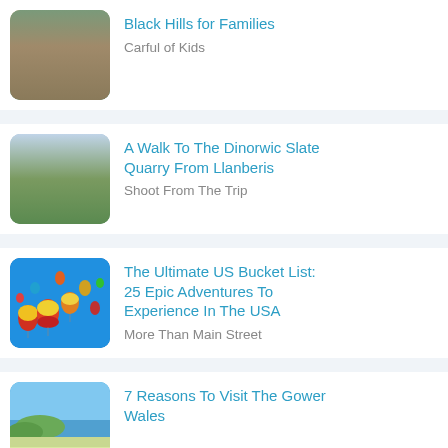Black Hills for Families — Carful of Kids
A Walk To The Dinorwic Slate Quarry From Llanberis — Shoot From The Trip
The Ultimate US Bucket List: 25 Epic Adventures To Experience In The USA — More Than Main Street
7 Reasons To Visit The Gower Wales